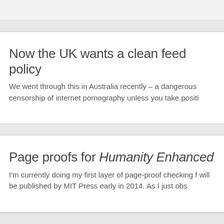Now the UK wants a clean feed policy
We went through this in Australia recently – a dangerous censorship of internet pornography unless you take positi
Page proofs for Humanity Enhanced
I'm currently doing my first layer of page-proof checking f will be published by MIT Press early in 2014. As I just obs